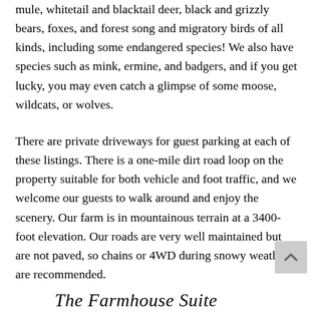mule, whitetail and blacktail deer, black and grizzly bears, foxes, and forest song and migratory birds of all kinds, including some endangered species! We also have species such as mink, ermine, and badgers, and if you get lucky, you may even catch a glimpse of some moose, wildcats, or wolves.
There are private driveways for guest parking at each of these listings. There is a one-mile dirt road loop on the property suitable for both vehicle and foot traffic, and we welcome our guests to walk around and enjoy the scenery. Our farm is in mountainous terrain at a 3400-foot elevation. Our roads are very well maintained but are not paved, so chains or 4WD during snowy weather are recommended.
The Farmhouse Suite